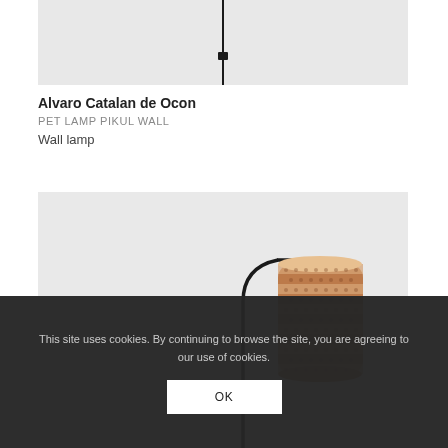[Figure (photo): Partial top view of a wall lamp with black cord and fixture against light grey background]
Alvaro Catalan de Ocon
PET LAMP PIKUL WALL
Wall lamp
[Figure (photo): A table/floor lamp with a black curved arm and a cylindrical woven rattan shade in terracotta/natural tones on a light grey background]
This site uses cookies. By continuing to browse the site, you are agreeing to our use of cookies.
OK